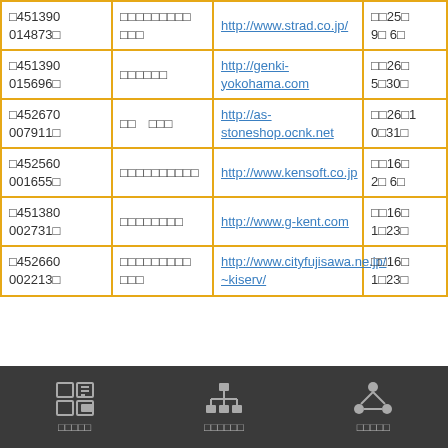| □451390
014873□ | □□□□□□□□□
□□□ | http://www.strad.co.jp/ | □□25□
9□ 6□ |
| □451390
015696□ | □□□□□□ | http://genki-yokohama.com | □□26□
5□30□ |
| □452670
007911□ | □□　□□□ | http://as-stoneshop.ocnk.net | □□26□1
0□31□ |
| □452560
001655□ | □□□□□□□□□□ | http://www.kensoft.co.jp | □□16□
2□ 6□ |
| □451380
002731□ | □□□□□□□□ | http://www.g-kent.com | □□16□
1□23□ |
| □452660
002213□ | □□□□□□□□□
□□□ | http://www.cityfujisawa.ne.jp/
~kiserv/ | □□16□
1□23□ |
□□□□□　□□□□□□　□□□□□